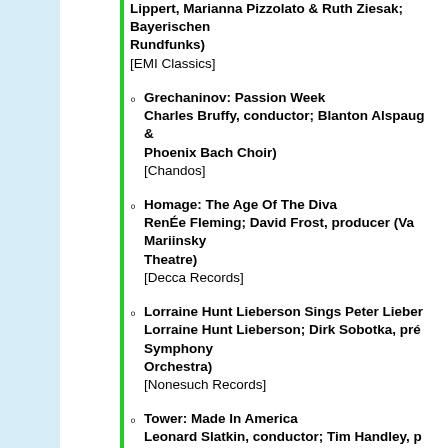Lippert, Marianna Pizzolato & Ruth Ziesak; Bayerischen Rundfunks) [EMI Classics]
Grechaninov: Passion Week Charles Bruffy, conductor; Blanton Alspaugh & Phoenix Bach Choir) [Chandos]
Homage: The Age Of The Diva Renée Fleming; David Frost, producer (Va Mariinsky Theatre) [Decca Records]
Lorraine Hunt Lieberson Sings Peter Lieber Lorraine Hunt Lieberson; Dirk Sobotka, pro Symphony Orchestra) [Nonesuch Records]
Tower: Made In America Leonard Slatkin, conductor; Tim Handley, p [...]